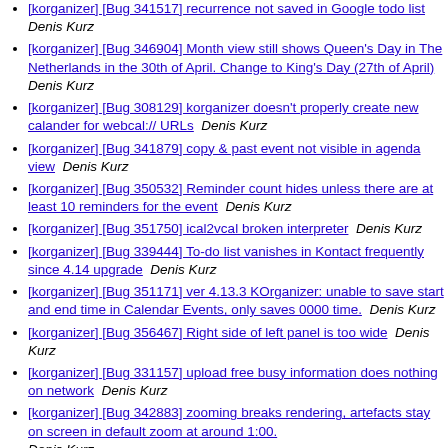[korganizer] [Bug 341517] recurrence not saved in Google todo list  Denis Kurz
[korganizer] [Bug 346904] Month view still shows Queen's Day in The Netherlands in the 30th of April. Change to King's Day (27th of April)  Denis Kurz
[korganizer] [Bug 308129] korganizer doesn't properly create new calander for webcal:// URLs  Denis Kurz
[korganizer] [Bug 341879] copy & past event not visible in agenda view  Denis Kurz
[korganizer] [Bug 350532] Reminder count hides unless there are at least 10 reminders for the event  Denis Kurz
[korganizer] [Bug 351750] ical2vcal broken interpreter  Denis Kurz
[korganizer] [Bug 339444] To-do list vanishes in Kontact frequently since 4.14 upgrade  Denis Kurz
[korganizer] [Bug 351171] ver 4.13.3 KOrganizer: unable to save start and end time in Calendar Events, only saves 0000 time.  Denis Kurz
[korganizer] [Bug 356467] Right side of left panel is too wide  Denis Kurz
[korganizer] [Bug 331157] upload free busy information does nothing on network  Denis Kurz
[korganizer] [Bug 342883] zooming breaks rendering, artefacts stay on screen in default zoom at around 1:00.  Denis Kurz